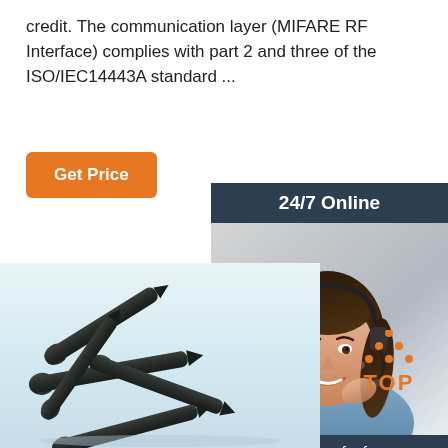credit. The communication layer (MIFARE RF Interface) complies with part 2 and three of the ISO/IEC14443A standard ...
[Figure (other): Orange 'Get Price' button]
[Figure (other): 24/7 Online chat widget with photo of woman with headset, 'Click here for free chat!' text, and orange QUOTATION button]
[Figure (other): Photo of dark metallic nails/rivets scattered on white background]
[Figure (logo): TOP logo with orange dotted triangle above orange text 'TOP']